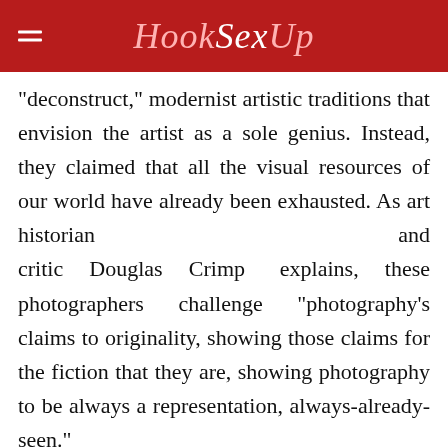HookSexUp
“deconstruct,” modernist artistic traditions that envision the artist as a sole genius. Instead, they claimed that all the visual resources of our world have already been exhausted. As art historian and critic Douglas Crimp explains, these photographers challenge “photography’s claims to originality, showing those claims for the fiction that they are, showing photography to be always a representation, always-already-seen.”
[Figure (other): Red banner advertisement with text REGISTER NOW!]
... the sun.  But ... e of an over-